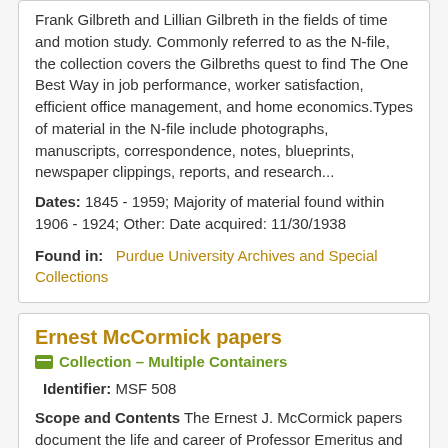Frank Gilbreth and Lillian Gilbreth in the fields of time and motion study. Commonly referred to as the N-file, the collection covers the Gilbreths quest to find The One Best Way in job performance, worker satisfaction, efficient office management, and home economics.Types of material in the N-file include photographs, manuscripts, correspondence, notes, blueprints, newspaper clippings, reports, and research...
Dates: 1845 - 1959; Majority of material found within 1906 - 1924; Other: Date acquired: 11/30/1938
Found in:   Purdue University Archives and Special Collections
Ernest McCormick papers
Collection – Multiple Containers
Identifier: MSF 508
Scope and Contents The Ernest J. McCormick papers document the life and career of Professor Emeritus and President of PAQ Services Ernest J. McCormick. The majority of the papers date from 1945 to the late